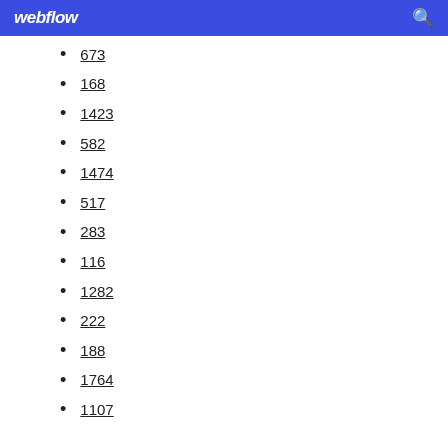webflow
673
168
1423
582
1474
517
283
116
1282
222
188
1764
1107